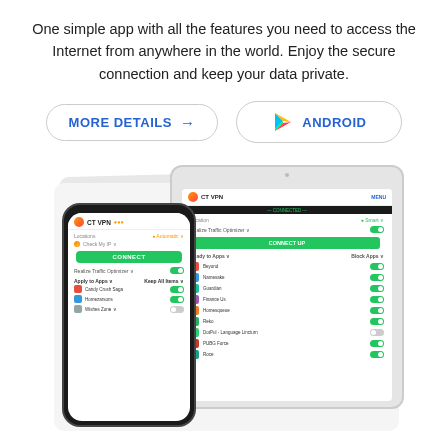One simple app with all the features you need to access the Internet from anywhere in the world. Enjoy the secure connection and keep your data private.
[Figure (screenshot): Two buttons: 'MORE DETAILS →' and a Google Play 'ANDROID' button, both outlined with rounded corners]
[Figure (screenshot): App screenshots showing CT VPN mobile app on a phone and tablet, displaying the connect interface, location selector, traffic optimizer toggle, and app list with toggles]